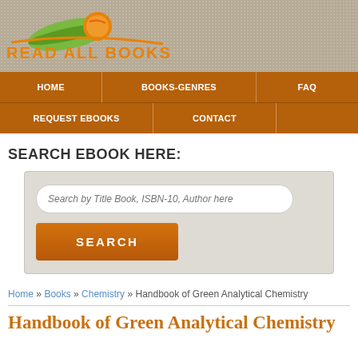[Figure (logo): Read All Books website logo with orange/green swoosh graphic and orange text 'READ ALL BOOKS']
HOME | BOOKS-GENRES | FAQ | REQUEST EBOOKS | CONTACT
SEARCH EBOOK HERE:
Search by Title Book, ISBN-10, Author here [search input] SEARCH [button]
Home » Books » Chemistry » Handbook of Green Analytical Chemistry
Handbook of Green Analytical Chemistry